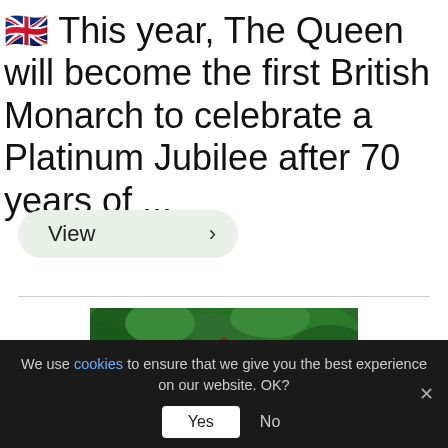🇬🇧 This year, The Queen will become the first British Monarch to celebrate a Platinum Jubilee after 70 years of ...
View >
[Figure (photo): Colourful maypole ribbons with green tree canopy background]
We use cookies to ensure that we give you the best experience on our website. OK?
Yes   No